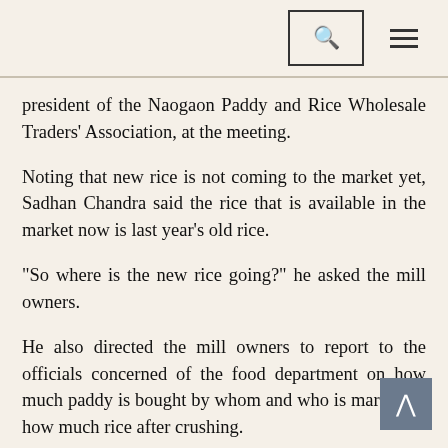[search icon] [menu icon]
president of the Naogaon Paddy and Rice Wholesale Traders' Association, at the meeting.
Noting that new rice is not coming to the market yet, Sadhan Chandra said the rice that is available in the market now is last year's old rice.
"So where is the new rice going?" he asked the mill owners.
He also directed the mill owners to report to the officials concerned of the food department on how much paddy is bought by whom and who is marketing how much rice after crushing.
Various corporate houses have started rice business, he said adding they are buying and